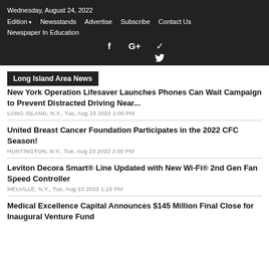Wednesday, August 24, 2022
Edition  Newsstands  Advertise  Subscribe  Contact Us
Newspaper In Education
f  G+  Twitter
Long Island Area News
New York Operation Lifesaver Launches Phones Can Wait Campaign to Prevent Distracted Driving Near...
LONG ISLAND, N.Y., Tue, Aug 23 2022 2:00 PM
United Breast Cancer Foundation Participates in the 2022 CFC Season!
HUNTINGTON, N.Y., Tue, Aug 23 2022 2:00 PM
Leviton Decora Smart® Line Updated with New Wi-Fi® 2nd Gen Fan Speed Controller
MELVILLE, N.Y., Tue, Aug 23 2022 1:15 PM
Medical Excellence Capital Announces $145 Million Final Close for Inaugural Venture Fund